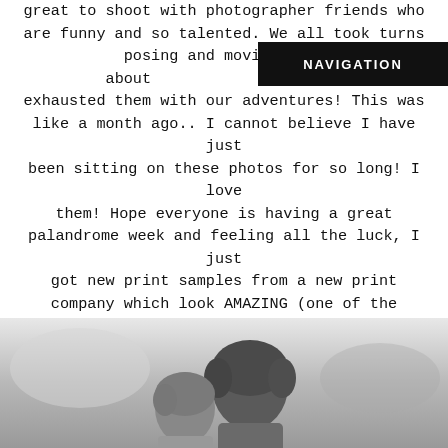great to shoot with photographer friends who are funny and so talented. We all took turns posing and moving them about exhausted them with our adventures! This was like a month ago.. I cannot believe I have just been sitting on these photos for so long! I love them! Hope everyone is having a great palandrome week and feeling all the luck, I just got new print samples from a new print company which look AMAZING (one of the images from this session was one of my test samples!) <3. My wedding season starts this SATURDAY and I could NOT be more excited about it!! I have the greatest couples this year with the best love stories. This summer is going to rock.
[Figure (photo): Black and white photo of a couple, visible from back/side, showing hair and shoulders, blurred background]